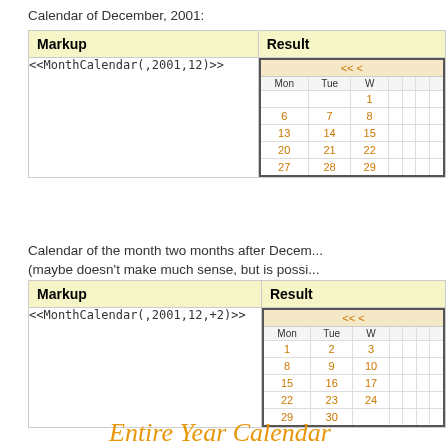Calendar of December, 2001:
| Markup | Result |
| --- | --- |
| <<MonthCalendar(,2001,12)>> | [calendar widget] |
Calendar of the month two months after December, 2001 (maybe doesn't make much sense, but is possi...
| Markup | Result |
| --- | --- |
| <<MonthCalendar(,2001,12,+2)>> | [calendar widget] |
Entire Year Calendar